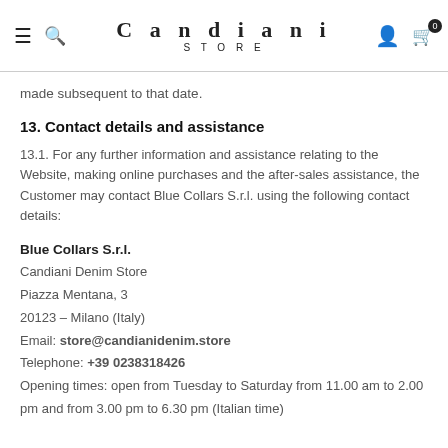Candiani STORE
made subsequent to that date.
13. Contact details and assistance
13.1. For any further information and assistance relating to the Website, making online purchases and the after-sales assistance, the Customer may contact Blue Collars S.r.l. using the following contact details:
Blue Collars S.r.l.
Candiani Denim Store
Piazza Mentana, 3
20123 – Milano (Italy)
Email: store@candianidenim.store
Telephone: +39 0238318426
Opening times: open from Tuesday to Saturday from 11.00 am to 2.00 pm and from 3.00 pm to 6.30 pm (Italian time)